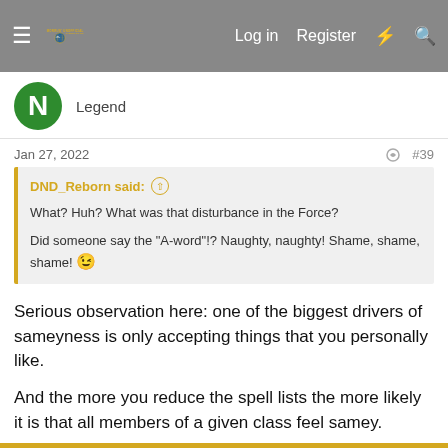Morrus' Unofficial Tabletop RPG News — Log in  Register
Legend
Jan 27, 2022  #39
DND_Reborn said: ↑
What? Huh? What was that disturbance in the Force?

Did someone say the "A-word"!? Naughty, naughty! Shame, shame, shame! 😉
Serious observation here: one of the biggest drivers of sameyness is only accepting things that you personally like.
And the more you reduce the spell lists the more likely it is that all members of a given class feel samey.
↩ Reply